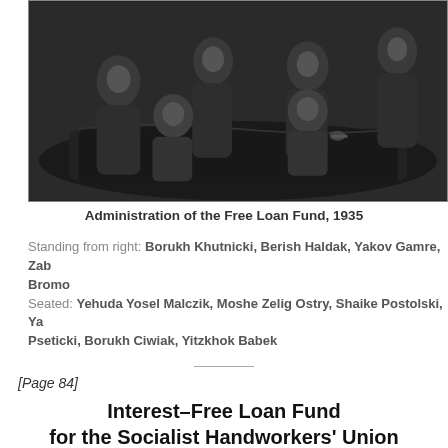[Figure (photo): Black and white photograph of a group of men seated and standing around a table covered with a decorative cloth. Administration of the Free Loan Fund, 1935.]
Administration of the Free Loan Fund, 1935
Standing from right: Borukh Khutnicki, Berish Haldak, Yakov Gamre, Zab Bromo
Seated: Yehuda Yosel Malczik, Moshe Zelig Ostry, Shaike Postolski, Ya Pseticki, Borukh Ciwiak, Yitzkhok Babek
[Page 84]
Interest–Free Loan Fund
for the Socialist Handworkers' Union